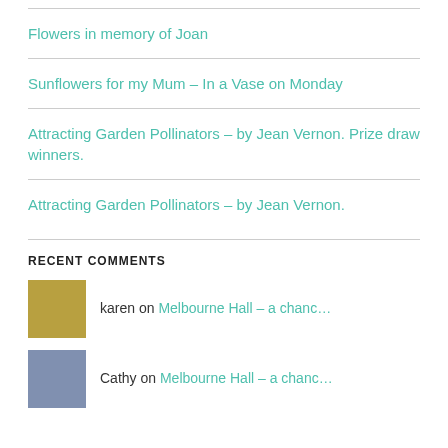Flowers in memory of Joan
Sunflowers for my Mum – In a Vase on Monday
Attracting Garden Pollinators – by Jean Vernon. Prize draw winners.
Attracting Garden Pollinators – by Jean Vernon.
RECENT COMMENTS
karen on Melbourne Hall – a chanc…
Cathy on Melbourne Hall – a chanc…